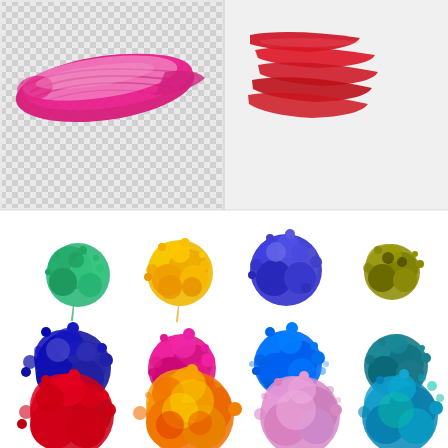[Figure (illustration): Collection of colorful paint brush strokes and ink splatter blobs. Top row: a hot pink/magenta thick brush stroke on transparent checkered background (left), and red layered brush strokes on light gray background (right). Middle rows: 8 colorful ink splatter blobs in green, yellow/orange, blue/purple, olive/gold, dark blue/indigo, magenta/pink, bright blue, teal/dark cyan. Bottom row: 3 large watercolor-style splatter blobs in red/crimson, orange/yellow multicolor, and lavender/pink, plus a teal/blue splatter.]